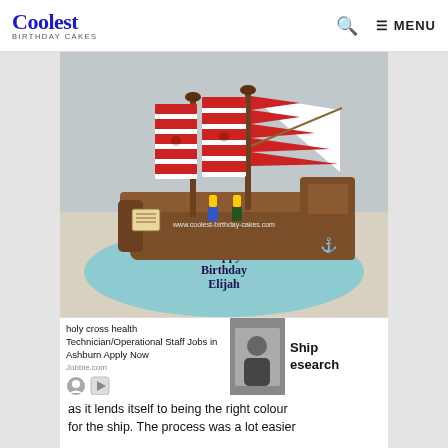Coolest Birthday Cakes | MENU
[Figure (photo): A pirate ship birthday cake decorated with chocolate frosting, red and white striped sails, LEGO pirate figures, on a blue fondant board reading 'Happy Birthday Elijah'. Watermark: www.coolest-birthday-cakes.com]
holy cross health Technician/Operational Staff Jobs in Ashburn Apply Now
Jobble.com
Ship Research
as it lends itself to being the right colour for the ship. The process was a lot easier